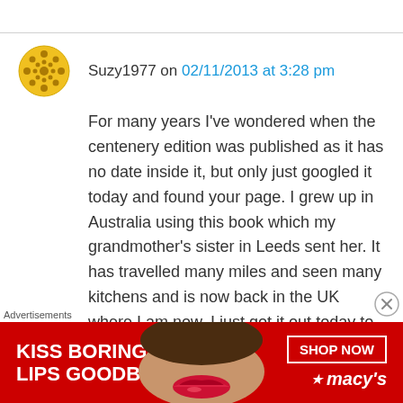Suzy1977 on 02/11/2013 at 3:28 pm
For many years I've wondered when the centenery edition was published as it has no date inside it, but only just googled it today and found your page. I grew up in Australia using this book which my grandmother's sister in Leeds sent her. It has travelled many miles and seen many kitchens and is now back in the UK where I am now. I just got it out today to make my Christmas cakes and how funny to see the exact page I'm using scanned in on your site. It is a
Advertisements
[Figure (illustration): Advertisement banner for Macy's lip products. Red background with white text reading 'KISS BORING LIPS GOODBYE', a photo of lips, a 'SHOP NOW' button, and the Macy's logo with star.]